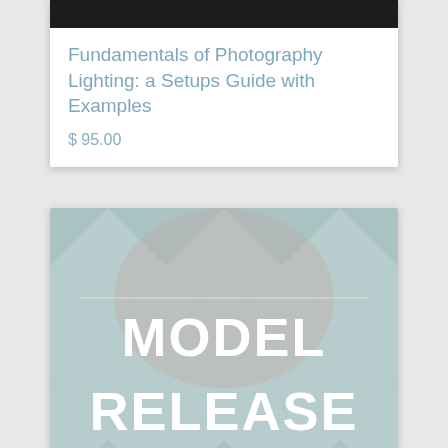[Figure (photo): Dark/black cropped photo at top of first product card]
Fundamentals of Photography Lighting: a Setups Guide with Examples
$ 95.00
[Figure (photo): Book cover with argyle/diamond pattern background in muted teal and pink tones, with large bold white text reading MODEL RELEASE (partial, bottom cut off showing RELEASE)]